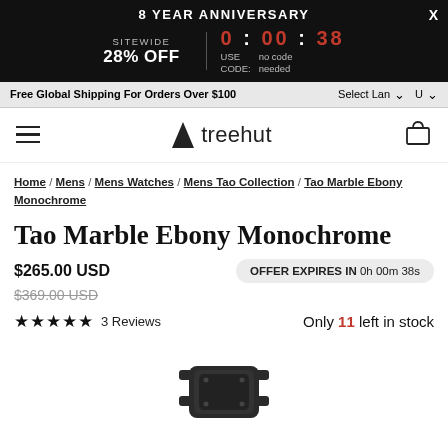8 YEAR ANNIVERSARY — SITEWIDE 28% OFF — 0 : 00 : 38 — USE CODE: no code needed — X
Free Global Shipping For Orders Over $100   Select Lan ∨   U ∨
treehut [hamburger menu] [cart icon]
Home / Mens / Mens Watches / Mens Tao Collection / Tao Marble Ebony Monochrome
Tao Marble Ebony Monochrome
$265.00 USD   OFFER EXPIRES IN 0h 00m 38s
$369.00 USD (strikethrough)
★★★★★ 3 Reviews   Only 11 left in stock